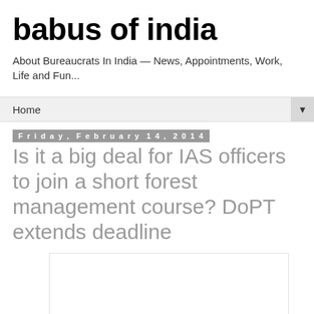babus of india
About Bureaucrats In India — News, Appointments, Work, Life and Fun...
Home ▼
Friday, February 14, 2014
Is it a big deal for IAS officers to join a short forest management course? DoPT extends deadline
[Figure (other): Advertisement box (blank white rectangle with border)]